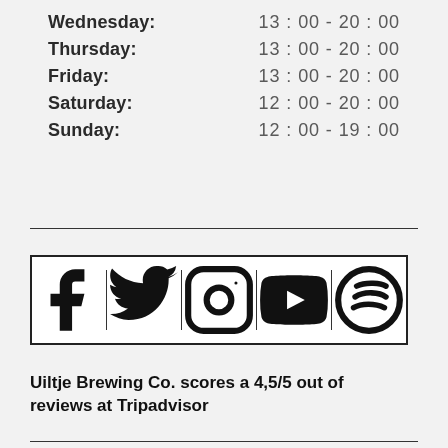Wednesday:    13:00 - 20:00
Thursday:    13:00 - 20:00
Friday:    13:00 - 20:00
Saturday:    12:00 - 20:00
Sunday:    12:00 - 19:00
[Figure (infographic): Social media icons bar: Facebook, Twitter, Instagram, YouTube, Spotify]
Uiltje Brewing Co. scores a 4,5/5 out of reviews at Tripadvisor